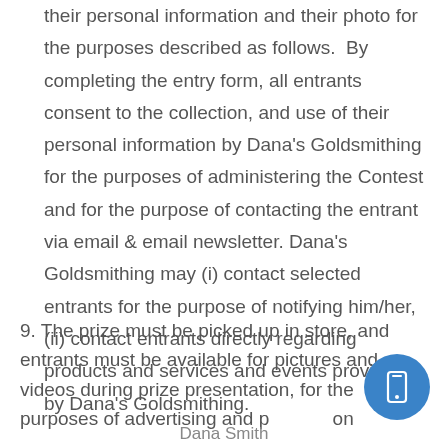their personal information and their photo for the purposes described as follows.  By completing the entry form, all entrants consent to the collection, and use of their personal information by Dana's Goldsmithing for the purposes of administering the Contest and for the purpose of contacting the entrant via email & email newsletter. Dana's Goldsmithing may (i) contact selected entrants for the purpose of notifying him/her, (ii) contact entrants directly regarding products and services and events provided by Dana's Goldsmithing.
9. The prize must be picked up in store, and entrants must be available for pictures and or videos during prize presentation, for the purposes of advertising and p[...]on
Dana Smith